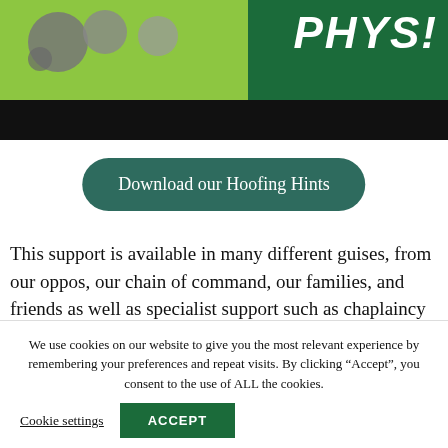[Figure (screenshot): Header banner with light green background on left half showing grey bubble shapes, dark green background on right half with italic bold white text 'PHYS!' and a black bar below.]
Download our Hoofing Hints
This support is available in many different guises, from our oppos, our chain of command, our families, and friends as well as specialist support such as chaplaincy and welfare services. Sometimes that support is enough, it can ‘normalise’ our stress, help us find our own way
We use cookies on our website to give you the most relevant experience by remembering your preferences and repeat visits. By clicking “Accept”, you consent to the use of ALL the cookies.
Cookie settings
ACCEPT